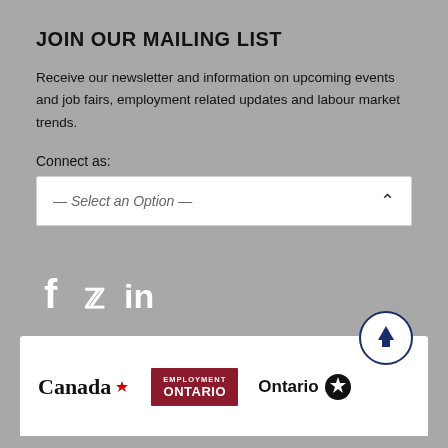JOIN OUR MAILING LIST
Receive our newsletter and information on upcoming events and job fairs, employment related updates and labour market trends.
Connect as:
— Select an Option —
[Figure (other): Social media icons: Facebook (f), Twitter (bird), LinkedIn (in)]
[Figure (logo): Footer with Canada wordmark, Employment Ontario logo (dark red background), Ontario logo with trillium symbol, and a back-to-top circular button with upward arrow]